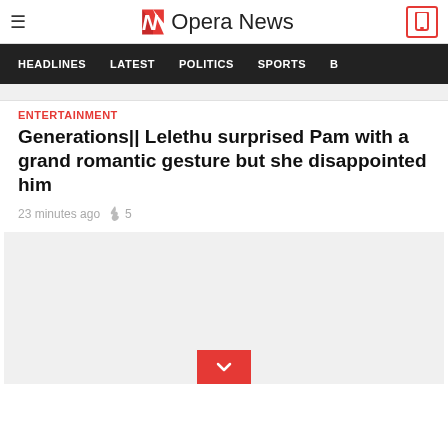Opera News
HEADLINES  LATEST  POLITICS  SPORTS
ENTERTAINMENT
Generations|| Lelethu surprised Pam with a grand romantic gesture but she disappointed him
23 minutes ago  🔥 5
[Figure (photo): Gray placeholder image with red chevron/download button at bottom center]